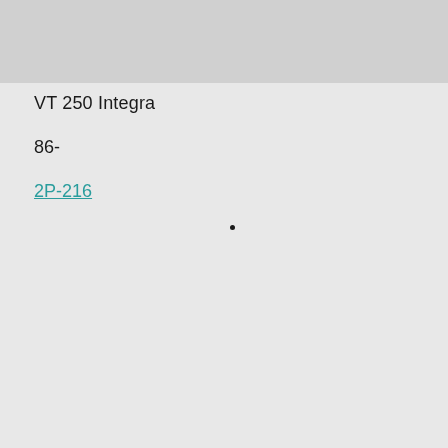[Figure (other): Gray banner/header image at the top of the page]
VT 250 Integra
86-
2P-216